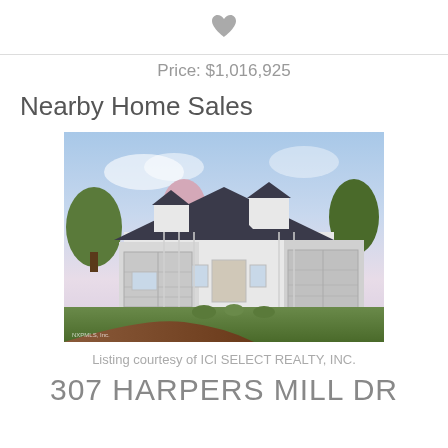[Figure (other): Heart/favorite icon (filled gray heart shape)]
Price: $1,016,925
Nearby Home Sales
[Figure (photo): Exterior photo of a white farmhouse-style single-story home with dark roof, dormers, attached garage, landscaping, and a curved brick driveway at dusk. Watermark reads: NXPMLS, Inc.]
Listing courtesy of ICI SELECT REALTY, INC.
307 HARPERS MILL DR